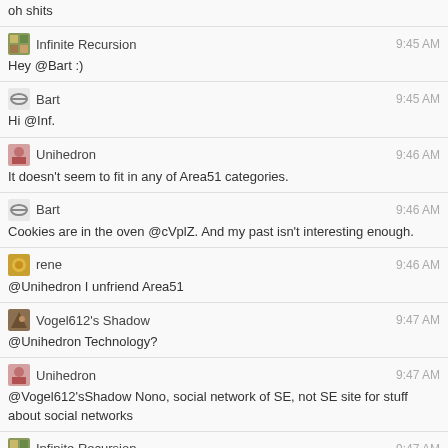oh shits
Infinite Recursion 9:45 AM
Hey @Bart :)
Bart 9:45 AM
Hi @Inf.
Unihedron 9:46 AM
It doesn't seem to fit in any of Area51 categories.
Bart 9:46 AM
Cookies are in the oven @cVplZ. And my past isn't interesting enough.
rene 9:46 AM
@Unihedron I unfriend Area51
Vogel612's Shadow 9:47 AM
@Unihedron Technology?
Unihedron 9:47 AM
@Vogel612'sShadow Nono, social network of SE, not SE site for stuff about social networks
Infinite Recursion 9:47 AM
@rene do what you want to do, you aren't here for very long...